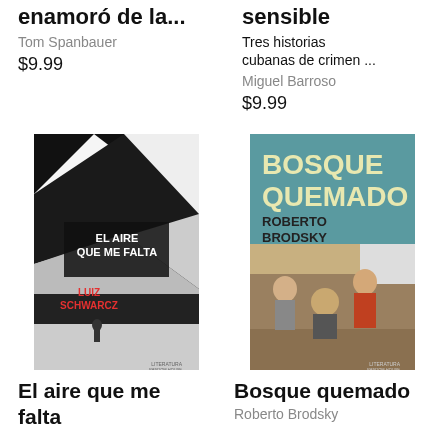enamoró de la...
sensible
Tom Spanbauer
Tres historias cubanas de crimen ...
$9.99
Miguel Barroso
$9.99
[Figure (photo): Book cover: El aire que me falta by Luiz Schwarcz. Black and white geometric design with text.]
[Figure (photo): Book cover: Bosque quemado by Roberto Brodsky. Teal background with vintage photo of people.]
El aire que me falta
Bosque quemado
Roberto Brodsky